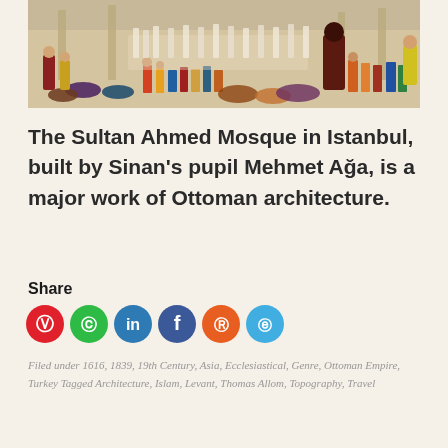[Figure (illustration): A wide panoramic painting/illustration of a crowded mosque courtyard scene with many figures in colorful Ottoman-era garments, praying or gathered, with columns and architectural elements visible.]
The Sultan Ahmed Mosque in Istanbul, built by Sinan's pupil Mehmet Ağa, is a major work of Ottoman architecture.
Share
[Figure (infographic): Row of six colored circular social media share buttons: Pinterest (red), WhatsApp (green), LinkedIn (blue), Facebook (dark blue), Reddit (orange), Twitter (light blue).]
Filed under 1616, 1839, 19th Century, Asia, Ecclesiastical, Genre, Ottoman Empire, Turkey Tagged Architecture, Islam, Levant, Thomas Allom, Topography, Travel